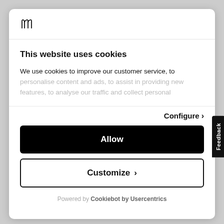[Figure (logo): Stylized cursive 'hm' logo in black]
This website uses cookies
We use cookies to improve our customer service, to personalise content and ads, to assist in providing new features, to analyse our traffic and collect personal
Configure >
Allow
Customize >
Powered by Cookiebot by Usercentrics